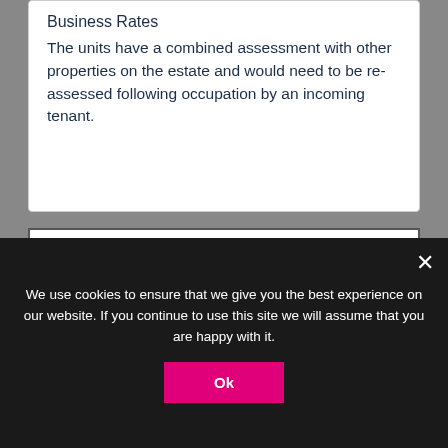Business Rates
The units have a combined assessment with other properties on the estate and would need to be re-assessed following occupation by an incoming tenant.
[Figure (logo): PREMIER logo in large orange stencil-style block letters on white background]
We use cookies to ensure that we give you the best experience on our website. If you continue to use this site we will assume that you are happy with it.